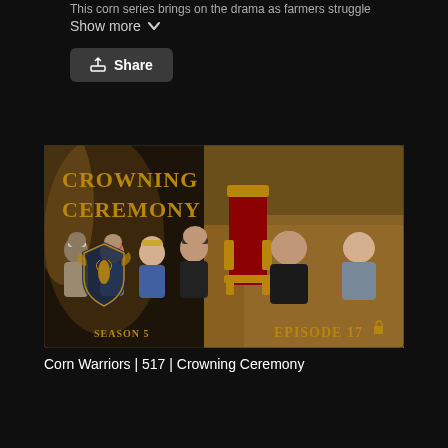This corn series brings on the drama as farmers struggle
Show more
[Figure (screenshot): Share button with upload icon on dark background]
[Figure (screenshot): Video thumbnail showing 'Crowning Ceremony' Season 5 Episode 17 with several people seated in chairs on a stage with a decorative throne and corn warrior shield logo]
Corn Warriors | 517 | Crowning Ceremony